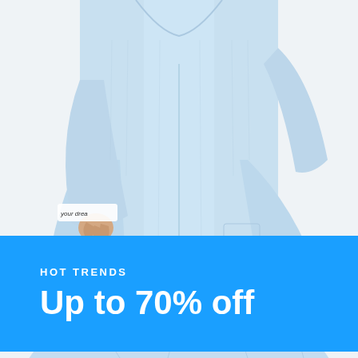[Figure (photo): Person wearing light blue denim oversized jacket and wide-leg pants against a white/light grey background. The cuff of the jacket has text reading 'your drea'. The figure is shown from neck to below the knees.]
HOT TRENDS
Up to 70% off